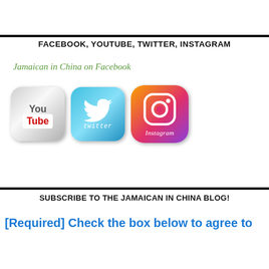FACEBOOK, YOUTUBE, TWITTER, INSTAGRAM
Jamaican in China on Facebook
[Figure (illustration): Three social media icons: YouTube (silver rounded square with 'You' in gray and 'Tube' in red on white), Twitter (blue gradient rounded square with white bird and 'twitter' text), Instagram (gradient orange-pink-purple rounded square with camera ring icon and 'Instagram' script text)]
SUBSCRIBE TO THE JAMAICAN IN CHINA BLOG!
[Required] Check the box below to agree to